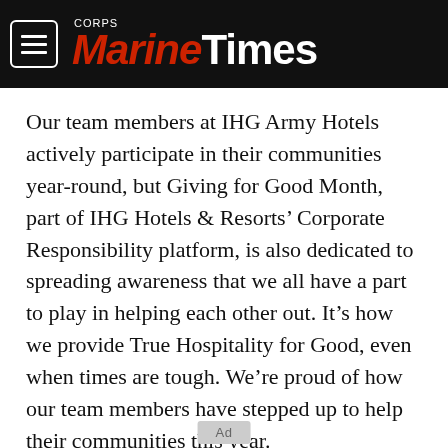Marine Corps Times
Our team members at IHG Army Hotels actively participate in their communities year-round, but Giving for Good Month, part of IHG Hotels & Resorts’ Corporate Responsibility platform, is also dedicated to spreading awareness that we all have a part to play in helping each other out. It’s how we provide True Hospitality for Good, even when times are tough. We’re proud of how our team members have stepped up to help their communities this year.
[Figure (other): Ad placeholder button at bottom of page]